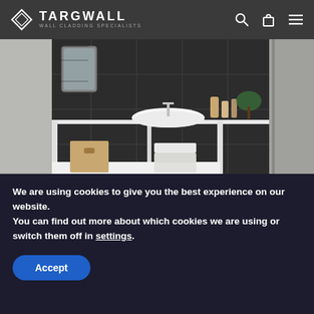TARGWALL WALL CLADDING SPECIALISTS
[Figure (photo): Bathroom vanity scene with dark anthracite tile-effect wall panels, white bowl sink on white shelf unit, towels, and accessories on the shelf below]
ANTHRACITE – TILE EFFECT PVC WALL PANELS 2600MM X 375MM X 8MM
We are using cookies to give you the best experience on our website.
You can find out more about which cookies we are using or switch them off in settings.
Accept